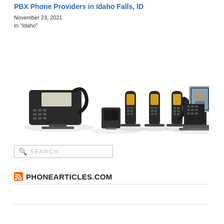PBX Phone Providers in Idaho Falls, ID
November 23, 2021
In "Idaho"
[Figure (photo): Collection of Yealink PBX/VoIP business phones including a desktop IP phone, a DECT base station with three cordless handsets in chargers, and a video conference phone with screen showing people.]
SEARCH
PHONEARTICLES.COM
VoIP Business Phones
Avaya IP Office Phones